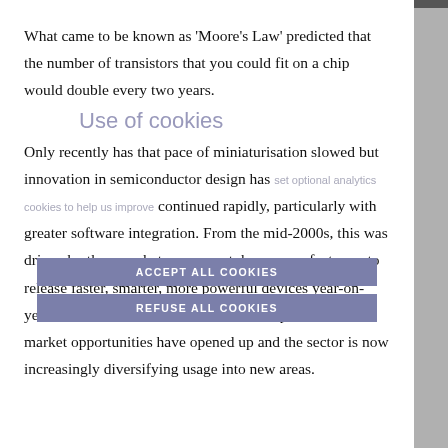What came to be known as 'Moore's Law' predicted that the number of transistors that you could fit on a chip would double every two years.
Use of cookies
Only recently has that pace of miniaturisation slowed but innovation in semiconductor design has continued rapidly, particularly with greater software integration. From the mid-2000s, this was driven by the race between smartphone manufacturers to release faster, smarter, more powerful devices year-on-year. As semiconductors became more capable, new market opportunities have opened up and the sector is now increasingly diversifying usage into new areas.
set optional analytics cookies to help us improve
ACCEPT ALL COOKIES
REFUSE ALL COOKIES